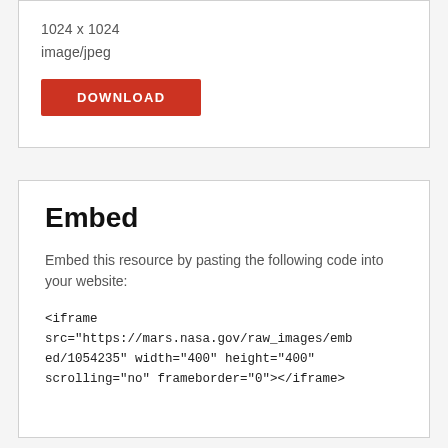1024 x 1024
image/jpeg
[Figure (other): Red DOWNLOAD button]
Embed
Embed this resource by pasting the following code into your website:
<iframe src="https://mars.nasa.gov/raw_images/embed/1054235" width="400" height="400" scrolling="no" frameborder="0"></iframe>